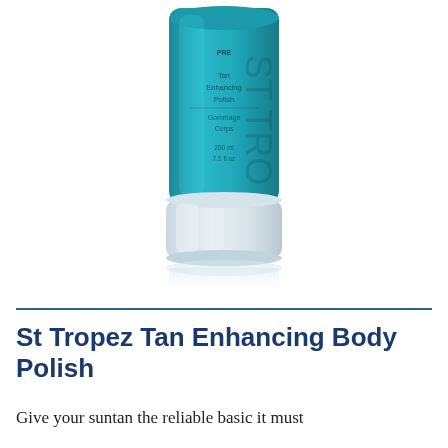[Figure (photo): A teal/turquoise tube of St Tropez Tan Enhancing Body Polish product with a frosted white cap at the bottom. The tube has text on it including 'Tan Enhancing Polish' and 'Gommage Corps'. Product is shown against a white background with a slight reflection beneath it.]
St Tropez Tan Enhancing Body Polish
Give your suntan the reliable basic it must